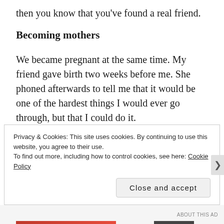then you know that you've found a real friend.
Becoming mothers
We became pregnant at the same time. My friend gave birth two weeks before me. She phoned afterwards to tell me that it would be one of the hardest things I would ever go through, but that I could do it.
We've never lived close to each other, but we've made the effort to visit. Since her son came along, my friend has
Privacy & Cookies: This site uses cookies. By continuing to use this website, you agree to their use.
To find out more, including how to control cookies, see here: Cookie Policy
Close and accept